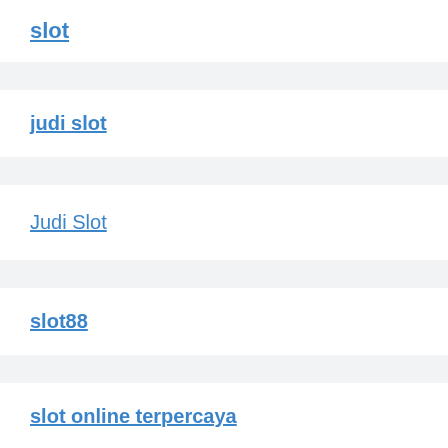slot
judi slot
Judi Slot
slot88
slot online terpercaya